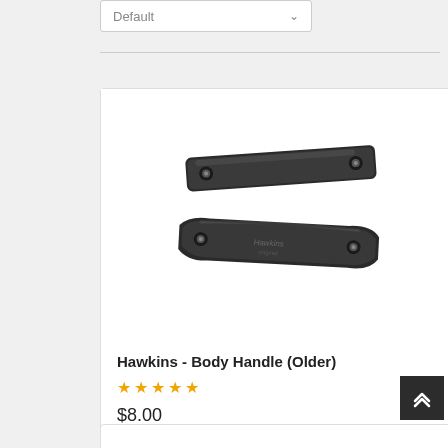[Figure (screenshot): Sort dropdown selector showing 'Default' with a chevron arrow, a horizontal divider, a product card containing a photo of Hawkins Body Handle (Older) dark metal hardware piece, product name, 5 empty star rating, price $8.00, a back-to-top arrow button, and a partial second product card at the bottom.]
Default
[Figure (photo): Two dark gunmetal/black metal body handles (Hawkins brand, older model) shown on white background. The handles are elongated curved metal pieces with bolt holes at each end.]
Hawkins - Body Handle (Older)
☆☆☆☆☆
$8.00